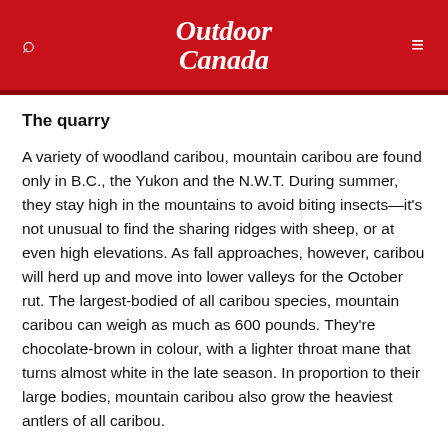Outdoor Canada
The quarry
A variety of woodland caribou, mountain caribou are found only in B.C., the Yukon and the N.W.T. During summer, they stay high in the mountains to avoid biting insects—it's not unusual to find the sharing ridges with sheep, or at even high elevations. As fall approaches, however, caribou will herd up and move into lower valleys for the October rut. The largest-bodied of all caribou species, mountain caribou can weigh as much as 600 pounds. They're chocolate-brown in colour, with a lighter throat mane that turns almost white in the late season. In proportion to their large bodies, mountain caribou also grow the heaviest antlers of all caribou.
When to go